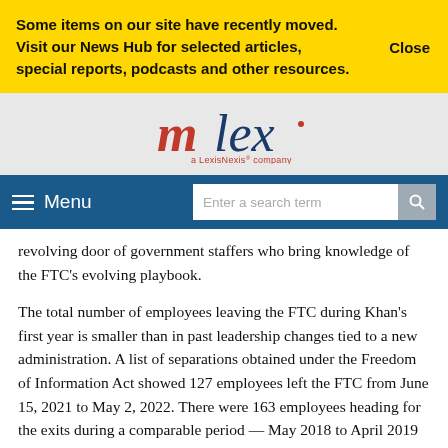Some items on our site have recently moved. Visit our News Hub for selected articles, special reports, podcasts and other resources.
Close
[Figure (logo): mlex a LexisNexis company logo]
Menu
Enter a search term
revolving door of government staffers who bring knowledge of the FTC's evolving playbook.
The total number of employees leaving the FTC during Khan's first year is smaller than in past leadership changes tied to a new administration. A list of separations obtained under the Freedom of Information Act showed 127 employees left the FTC from June 15, 2021 to May 2, 2022. There were 163 employees heading for the exits during a comparable period — May 2018 to April 2019 —